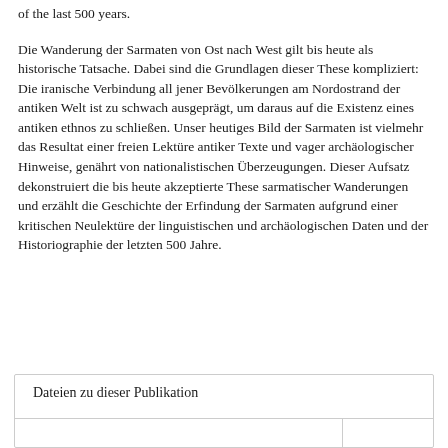of the last 500 years.
Die Wanderung der Sarmaten von Ost nach West gilt bis heute als historische Tatsache. Dabei sind die Grundlagen dieser These kompliziert: Die iranische Verbindung all jener Bevölkerungen am Nordostrand der antiken Welt ist zu schwach ausgeprägt, um daraus auf die Existenz eines antiken ethnos zu schließen. Unser heutiges Bild der Sarmaten ist vielmehr das Resultat einer freien Lektüre antiker Texte und vager archäologischer Hinweise, genährt von nationalistischen Überzeugungen. Dieser Aufsatz dekonstruiert die bis heute akzeptierte These sarmatischer Wanderungen und erzählt die Geschichte der Erfindung der Sarmaten aufgrund einer kritischen Neulektüre der linguistischen und archäologischen Daten und der Historiographie der letzten 500 Jahre.
Dateien zu dieser Publikation